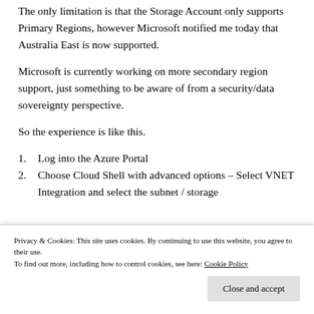The only limitation is that the Storage Account only supports Primary Regions, however Microsoft notified me today that Australia East is now supported.
Microsoft is currently working on more secondary region support, just something to be aware of from a security/data sovereignty perspective.
So the experience is like this.
1. Log into the Azure Portal
2. Choose Cloud Shell with advanced options – Select VNET Integration and select the subnet / storage
Privacy & Cookies: This site uses cookies. By continuing to use this website, you agree to their use. To find out more, including how to control cookies, see here: Cookie Policy
Close and accept